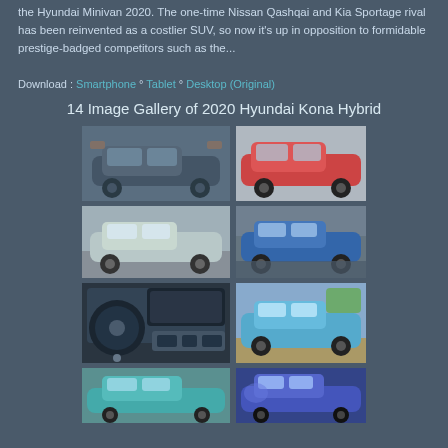the Hyundai Minivan 2020. The one-time Nissan Qashqai and Kia Sportage rival has been reinvented as a costlier SUV, so now it's up in opposition to formidable prestige-badged competitors such as the...
Download : Smartphone ° Tablet ° Desktop (Original)
14 Image Gallery of 2020 Hyundai Kona Hybrid
[Figure (photo): 2020 Hyundai Kona Hybrid in blue/grey, front three-quarter view in front of garage]
[Figure (photo): 2020 Hyundai Kona Hybrid in red, front three-quarter view on road]
[Figure (photo): 2020 Hyundai Kona Hybrid in silver/champagne, driving on road]
[Figure (photo): 2020 Hyundai Kona Hybrid in blue, side profile view with mountains in background]
[Figure (photo): 2020 Hyundai Kona Hybrid interior showing dashboard, steering wheel and infotainment]
[Figure (photo): 2020 Hyundai Kona Hybrid in light blue, parked with palm trees and Spanish-style building]
[Figure (photo): 2020 Hyundai Kona Hybrid in teal/aqua, front three-quarter low angle]
[Figure (photo): 2020 Hyundai Kona Hybrid in cobalt blue, low angle front view]